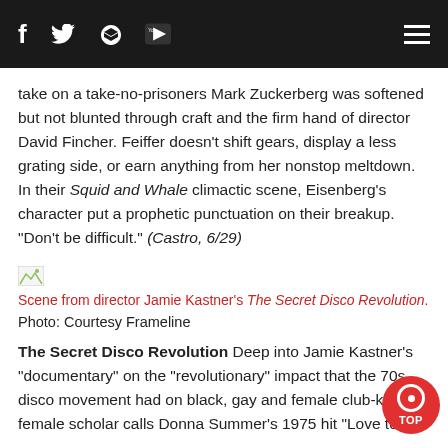[social media icons: Facebook, Twitter, RSS, YouTube] [hamburger menu]
take on a take-no-prisoners Mark Zuckerberg was softened but not blunted through craft and the firm hand of director David Fincher. Feiffer doesn't shift gears, display a less grating side, or earn anything from her nonstop meltdown. In their Squid and Whale climactic scene, Eisenberg's character put a prophetic punctuation on their breakup. "Don't be difficult." (Castro, 6/29)
[Figure (photo): Small broken/placeholder image icon]
Scene from director Jamie Kastner's The Secret Disco Revolution.
Photo: Courtesy Frameline
The Secret Disco Revolution Deep into Jamie Kastner's "documentary" on the "revolutionary" impact that the 70s disco movement had on black, gay and female club-kids, a female scholar calls Donna Summer's 1975 hit "Love to